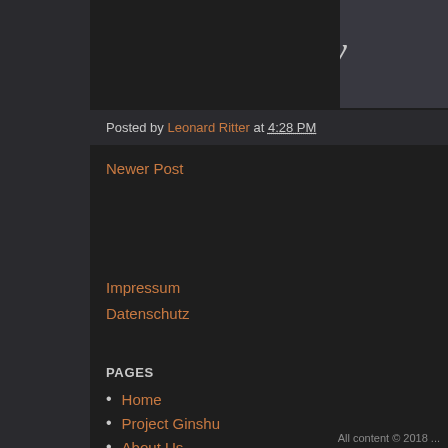Posted by Leonard Ritter at 4:28 PM
Newer Post
Impressum
Datenschutz
PAGES
Home
Project Ginshu
About Us
Contact
Twitter
All content © 2018 ...